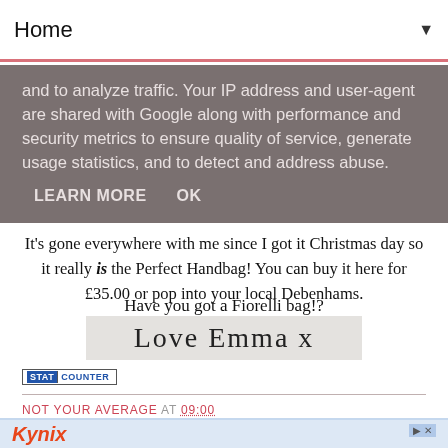Home ▼
and to analyze traffic. Your IP address and user-agent are shared with Google along with performance and security metrics to ensure quality of service, generate usage statistics, and to detect and address abuse.
LEARN MORE   OK
It’s gone everywhere with me since I got it Christmas day so it really is the Perfect Handbag! You can buy it here for £35.00 or pop into your local Debenhams.
Have you got a Fiorelli bag!?
[Figure (illustration): Handwritten signature: Love Emma x on a light grey background]
[Figure (logo): StatCounter badge with blue and white text]
NOT YOUR AVERAGE AT 09:00
[Figure (other): Kynix advertisement banner at the bottom of the page]